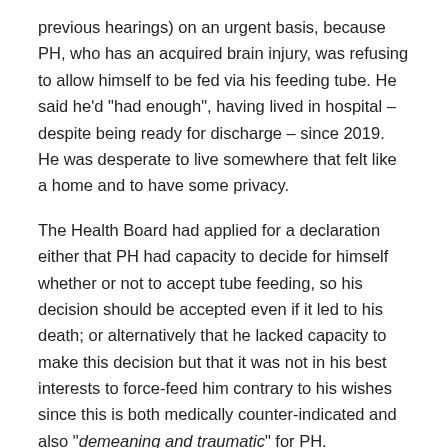previous hearings) on an urgent basis, because PH, who has an acquired brain injury, was refusing to allow himself to be fed via his feeding tube.  He said he'd "had enough", having lived in hospital – despite being ready for discharge – since 2019.  He was desperate to live somewhere that felt like a home and to have some privacy.
The Health Board had applied for a declaration either that PH had capacity to decide for himself whether or not to accept tube feeding, so his decision should be accepted even if it led to his death; or alternatively that he lacked capacity to make this decision but that it was not in his best interests to force-feed him contrary to his wishes since this is both medically counter-indicated and also "demeaning and traumatic" for PH.
Towards the end of the hearing on 7th February 2022